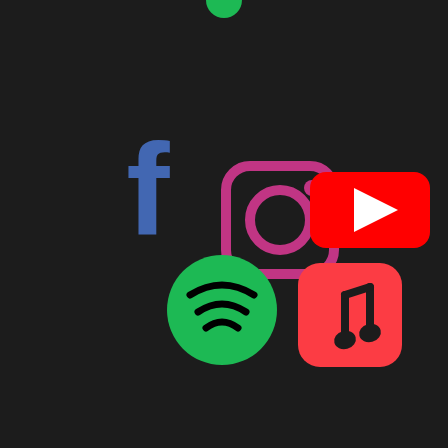[Figure (illustration): Social media and streaming app logos on a dark background: Facebook (blue 'f'), Instagram (pink camera icon), YouTube (red play button), Spotify (green circle with sound waves), Apple Music (red rounded square with music note). A small green circle is visible at the top center.]